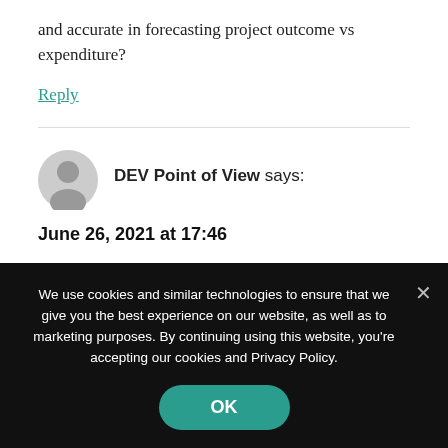and accurate in forecasting project outcome vs expenditure?
Reply
DEV Point of View says:
June 26, 2021 at 17:46
We use cookies and similar technologies to ensure that we give you the best experience on our website, as well as to marketing purposes. By continuing using this website, you're accepting our cookies and Privacy Policy.